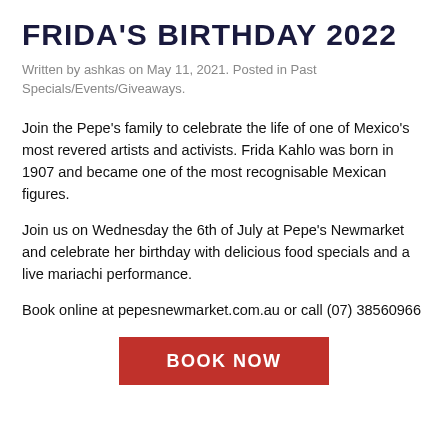FRIDA'S BIRTHDAY 2022
Written by ashkas on May 11, 2021. Posted in Past Specials/Events/Giveaways.
Join the Pepe's family to celebrate the life of one of Mexico's most revered artists and activists. Frida Kahlo was born in 1907 and became one of the most recognisable Mexican figures.
Join us on Wednesday the 6th of July at Pepe's Newmarket and celebrate her birthday with delicious food specials and a live mariachi performance.
Book online at pepesnewmarket.com.au or call (07) 38560966
BOOK NOW